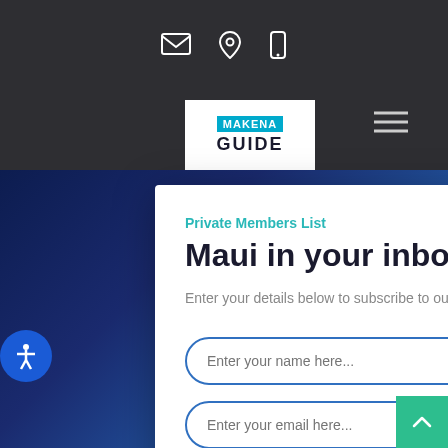[Figure (screenshot): Dark navigation top bar with email, location pin, and mobile phone icons in white]
[Figure (logo): Makena Guide logo: MAKENA in cyan box, GUIDE in bold dark text below, on white background]
[Figure (screenshot): Hamburger menu icon (three horizontal lines) on dark background, top right]
[Figure (screenshot): Accessibility icon: blue circle with white person figure, on left side]
Private Members List
Maui in your inbox
Enter your details below to subscribe to our Maui monthly insider.
Enter your name here...
Enter your email here...
Sign Up